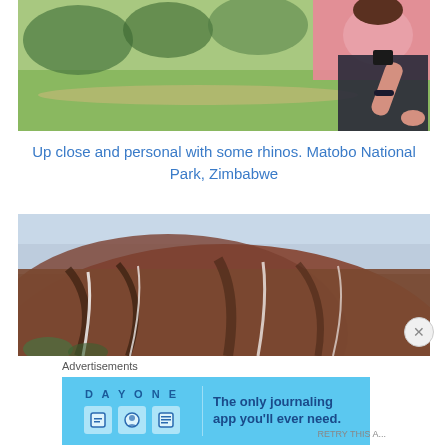[Figure (photo): Person crouching in grass field, wearing pink top and dark pants, photographing something on the ground. Green grassy savanna background.]
Up close and personal with some rhinos. Matobo National Park, Zimbabwe
[Figure (photo): Large rounded granite rock formation with rust and dark streaks, overcast sky above. Matobo National Park, Zimbabwe.]
Advertisements
[Figure (screenshot): DayOne app advertisement banner: 'The only journaling app you'll ever need.' with app icons on light blue background.]